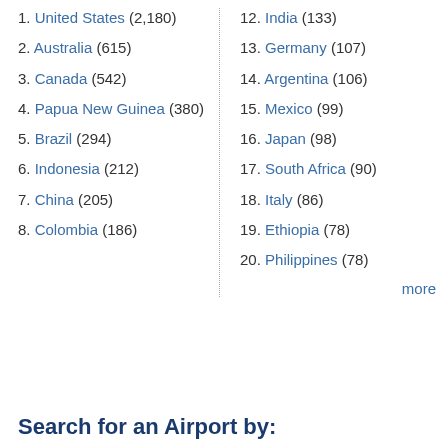1. United States (2,180)
2. Australia (615)
3. Canada (542)
4. Papua New Guinea (380)
5. Brazil (294)
6. Indonesia (212)
7. China (205)
8. Colombia (186)
12. India (133)
13. Germany (107)
14. Argentina (106)
15. Mexico (99)
16. Japan (98)
17. South Africa (90)
18. Italy (86)
19. Ethiopia (78)
20. Philippines (78)
more
Search for an Airport by: